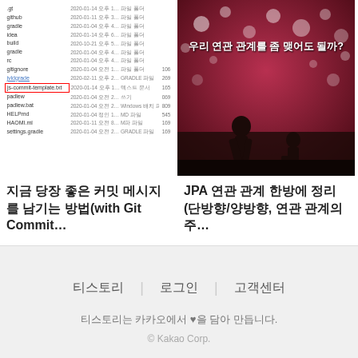[Figure (screenshot): File list screenshot showing git repository files with timestamps and file types. One row 'js-commit-template.txt' is highlighted with a red border.]
[Figure (photo): Dark romantic photo with bokeh lights and silhouette of couple, with Korean text overlay reading '우리 연관 관계를 좀 맺어도 될까?']
지금 당장 좋은 커밋 메시지를 남기는 방법(with Git Commit…
JPA 연관 관계 한방에 정리 (단방향/양방향, 연관 관계의 주…
티스토리
로그인
고객센터
티스토리는 카카오에서 ♥을 담아 만듭니다.
© Kakao Corp.
2  1  ···